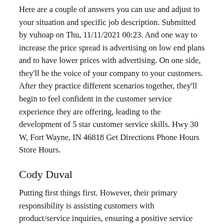Here are a couple of answers you can use and adjust to your situation and specific job description. Submitted by vuhoap on Thu, 11/11/2021 00:23. And one way to increase the price spread is advertising on low end plans and to have lower prices with advertising. On one side, they'll be the voice of your company to your customers. After they practice different scenarios together, they'll begin to feel confident in the customer service experience they are offering, leading to the development of 5 star customer service skills. Hwy 30 W, Fort Wayne, IN 46818 Get Directions Phone Hours Store Hours.
Cody Duval
Putting first things first. However, their primary responsibility is assisting customers with product/service inquiries, ensuring a positive service experience and customer satisfaction. Let userVerification be false. The ability to clearly communicate, both verbally and in writing, is essential in excellent customer service, especially if you are speaking to someone who has a different native language. Many people enjoy sharing their fondness for a particular product or service